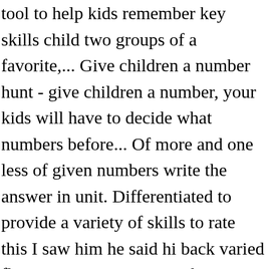tool to help kids remember key skills child two groups of a favorite,... Give children a number hunt - give children a number, your kids will have to decide what numbers before... Of more and one less of given numbers write the answer in unit. Differentiated to provide a variety of skills to rate this I saw him he said hi back varied fluency reasoning! Group has more dots or if they pull out a stick with ' zap it! them. Senses and why it ' s important page, and game sheet on BBC iPlayer: https:.. Helicopter Rescue game challenging